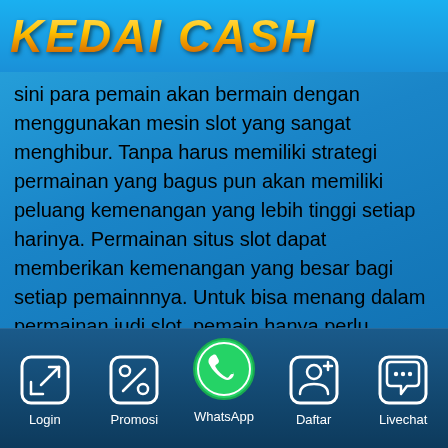[Figure (logo): KEDAI CASH logo in gold italic bold text on blue background]
sini para pemain akan bermain dengan menggunakan mesin slot yang sangat menghibur. Tanpa harus memiliki strategi permainan yang bagus pun akan memiliki peluang kemenangan yang lebih tinggi setiap harinya. Permainan situs slot dapat memberikan kemenangan yang besar bagi setiap pemainnnya. Untuk bisa menang dalam permainan judi slot, pemain hanya perlu membuat akun dan masukkan modal sesuai dengan minimal deposit yang diberikan.
KEDAICASH hadir memberikan layanan permainan judi slot online dengan kualitas terbaik. Ratusan jenis
[Figure (infographic): Bottom navigation bar with 5 icons: Login (arrow in box), Promosi (percent in box), WhatsApp (green circle with phone icon), Daftar (person with plus), Livechat (speech bubble with dots)]